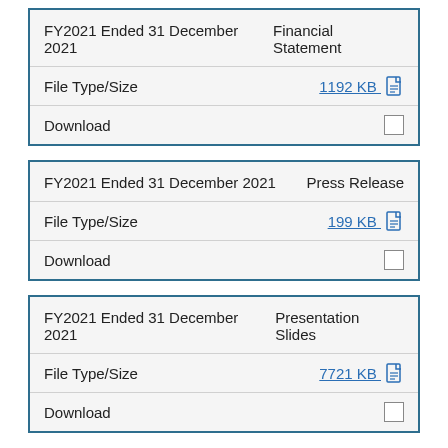| Document | Type | File Type/Size | Download |
| --- | --- | --- | --- |
| FY2021 Ended 31 December 2021 | Financial Statement | 1192 KB |  |
| FY2021 Ended 31 December 2021 | Press Release | 199 KB |  |
| FY2021 Ended 31 December 2021 | Presentation Slides | 7721 KB |  |